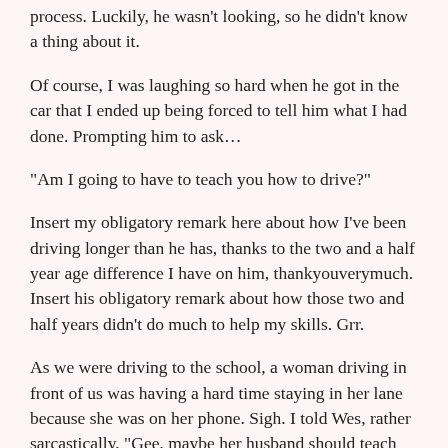process. Luckily, he wasn't looking, so he didn't know a thing about it.
Of course, I was laughing so hard when he got in the car that I ended up being forced to tell him what I had done. Prompting him to ask…
“Am I going to have to teach you how to drive?”
Insert my obligatory remark here about how I’ve been driving longer than he has, thanks to the two and a half year age difference I have on him, thankyouverymuch. Insert his obligatory remark about how those two and half years didn’t do much to help my skills. Grr.
As we were driving to the school, a woman driving in front of us was having a hard time staying in her lane because she was on her phone. Sigh. I told Wes, rather sarcastically, “Gee, maybe her husband should teach her how to drive, huh?”